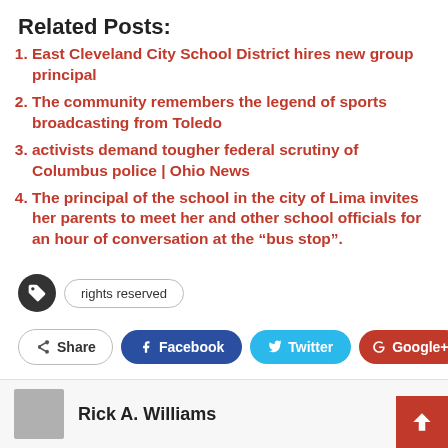Related Posts:
East Cleveland City School District hires new group principal
The community remembers the legend of sports broadcasting from Toledo
activists demand tougher federal scrutiny of Columbus police | Ohio News
The principal of the school in the city of Lima invites her parents to meet her and other school officials for an hour of conversation at the “bus stop”.
rights reserved
Share  Facebook  Twitter  Google+  +
Rick A. Williams